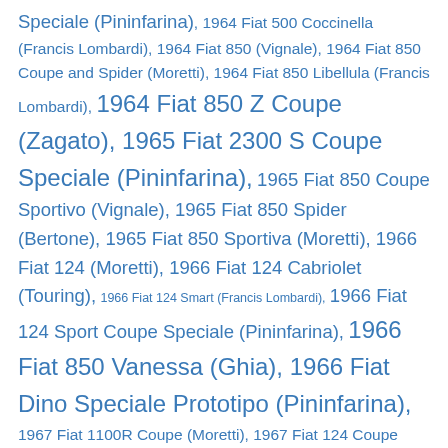Speciale (Pininfarina), 1964 Fiat 500 Coccinella (Francis Lombardi), 1964 Fiat 850 (Vignale), 1964 Fiat 850 Coupe and Spider (Moretti), 1964 Fiat 850 Libellula (Francis Lombardi), 1964 Fiat 850 Z Coupe (Zagato), 1965 Fiat 2300 S Coupe Speciale (Pininfarina), 1965 Fiat 850 Coupe Sportivo (Vignale), 1965 Fiat 850 Spider (Bertone), 1965 Fiat 850 Sportiva (Moretti), 1966 Fiat 124 (Moretti), 1966 Fiat 124 Cabriolet (Touring), 1966 Fiat 124 Smart (Francis Lombardi), 1966 Fiat 124 Sport Coupe Speciale (Pininfarina), 1966 Fiat 850 Vanessa (Ghia), 1966 Fiat Dino Speciale Prototipo (Pininfarina), 1967 Fiat 1100R Coupe (Moretti), 1967 Fiat 124 Coupe Eveline (Vignale), 1967 Fiat 124 Savana (Savio), 1967 Fiat 125 (Moretti), 1967 Fiat 125 Executive (Bertone), 1967 Fiat 125 GTZ (Zagato), 1967 Fiat 125 Samantha (Vignale), 1967 Fiat 850 Spider Monza (Francis Lombardi), 1967 Fiat Dino Parigi (Pininfarina), 1968 Fiat 124 Coupe (Savio), 1968 Fiat 125 Station Wagon (Savio), 1968 Fiat 850-Special "Grand Prix" (Francis Lombardi), 1968 Fiat City Taxi Prototyp, 1968 Fiat